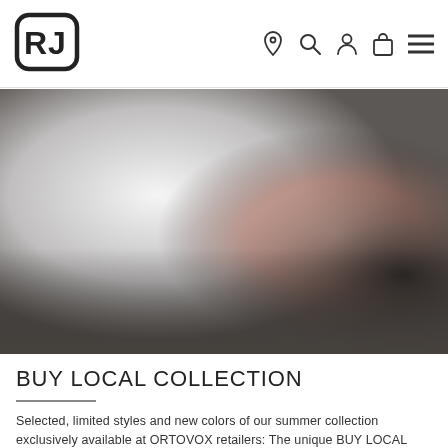[Figure (logo): Ortovox brand logo - stylized R and D characters in rounded rectangle]
[Figure (photo): Blurred hero image showing outdoor/sports figure, blended from white/grey on left to dark grey with warm pinkish tones on right]
BUY LOCAL COLLECTION
Selected, limited styles and new colors of our summer collection exclusively available at ORTOVOX retailers: The unique BUY LOCAL collection stands for the appreciation of the specialist